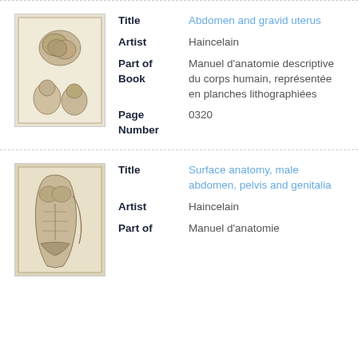[Figure (illustration): Anatomical illustration showing abdomen and gravid uterus with multiple views of fetal forms]
Title: Abdomen and gravid uterus
Artist: Haincelain
Part of Book: Manuel d'anatomie descriptive du corps humain, représentée en planches lithographiées
Page Number: 0320
[Figure (illustration): Anatomical illustration showing surface anatomy of male abdomen, pelvis and genitalia]
Title: Surface anatomy, male abdomen, pelvis and genitalia
Artist: Haincelain
Part of: Manuel d'anatomie